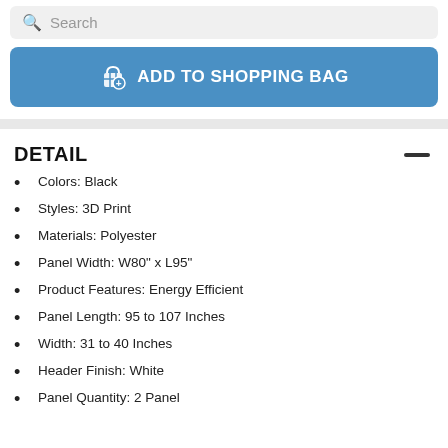Search
[Figure (other): Add to Shopping Bag button in blue with shopping bag icon]
DETAIL
Colors:  Black
Styles:  3D Print
Materials:  Polyester
Panel Width:  W80" x L95"
Product Features:  Energy Efficient
Panel Length:  95 to 107 Inches
Width:  31 to 40 Inches
Header Finish:  White
Panel Quantity:  2 Panel